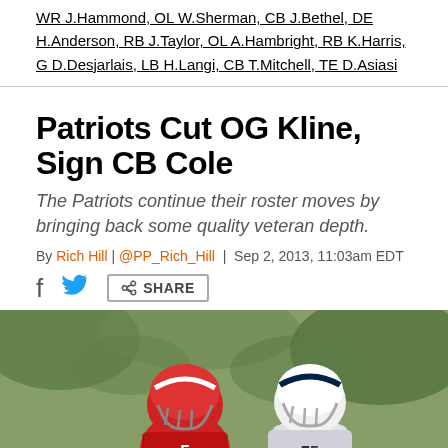WR J.Hammond, OL W.Sherman, CB J.Bethel, DE H.Anderson, RB J.Taylor, OL A.Hambright, RB K.Harris, G D.Desjarlais, LB H.Langi, CB T.Mitchell, TE D.Asiasi
Patriots Cut OG Kline, Sign CB Cole
The Patriots continue their roster moves by bringing back some quality veteran depth.
By Rich Hill | @PP_Rich_Hill | Sep 2, 2013, 11:03am EDT
[Figure (photo): Two football players in helmets and uniforms at practice, one in red helmet one in white Patriots helmet, green background]